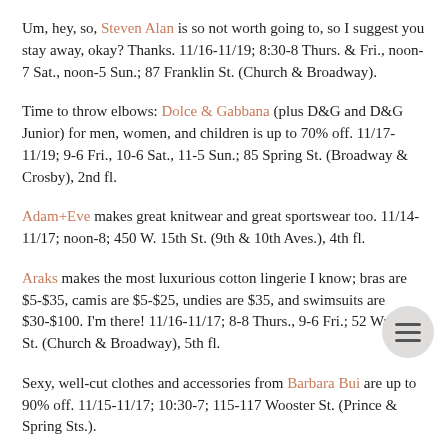Um, hey, so, Steven Alan is so not worth going to, so I suggest you stay away, okay? Thanks. 11/16-11/19; 8:30-8 Thurs. & Fri., noon-7 Sat., noon-5 Sun.; 87 Franklin St. (Church & Broadway).
Time to throw elbows: Dolce & Gabbana (plus D&G and D&G Junior) for men, women, and children is up to 70% off. 11/17-11/19; 9-6 Fri., 10-6 Sat., 11-5 Sun.; 85 Spring St. (Broadway & Crosby), 2nd fl.
Adam+Eve makes great knitwear and great sportswear too. 11/14-11/17; noon-8; 450 W. 15th St. (9th & 10th Aves.), 4th fl.
Araks makes the most luxurious cotton lingerie I know; bras are $5-$35, camis are $5-$25, undies are $35, and swimsuits are $30-$100. I'm there! 11/16-11/17; 8-8 Thurs., 9-6 Fri.; 52 Walker St. (Church & Broadway), 5th fl.
Sexy, well-cut clothes and accessories from Barbara Bui are up to 90% off. 11/15-11/17; 10:30-7; 115-117 Wooster St. (Prince & Spring Sts.).